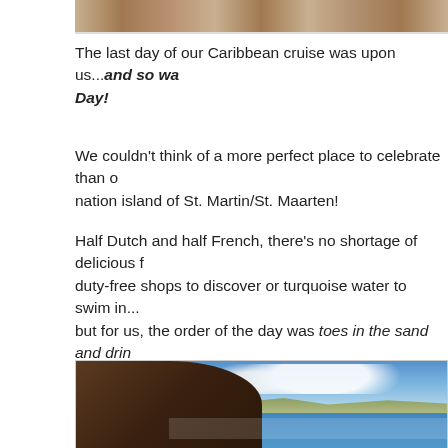[Figure (photo): Top portion of a sandy/rocky landscape photo, cropped at top of page]
The last day of our Caribbean cruise was upon us...and so was Anniversary Day!
We couldn't think of a more perfect place to celebrate than on the two-nation island of St. Martin/St. Maarten!
Half Dutch and half French, there's no shortage of delicious food, duty-free shops to discover or turquoise water to swim in... but for us, the order of the day was toes in the sand and drinks in hand! 😉
[Figure (photo): Man with sunglasses looking out over a marina/harbor with sailboats, blue water, mountains and blue sky in background. Location: St. Martin/St. Maarten]